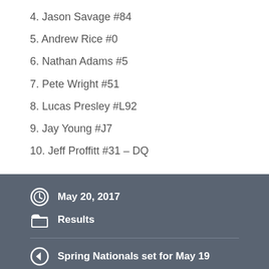4. Jason Savage #84
5. Andrew Rice #0
6. Nathan Adams #5
7. Pete Wright #51
8. Lucas Presley #L92
9. Jay Young #J7
10. Jeff Proffitt #31 – DQ
May 20, 2017
Results
Spring Nationals set for May 19
Crate Championship this Friday